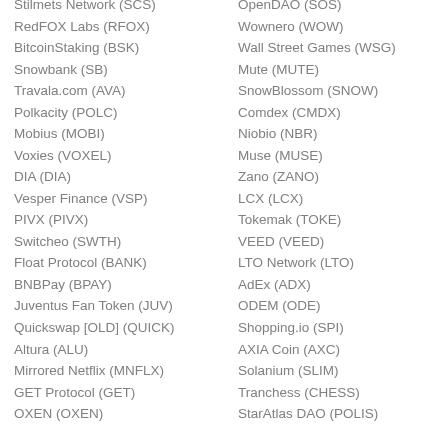Stilmets Network (SCS)
RedFOX Labs (RFOX)
BitcoinStaking (BSK)
Snowbank (SB)
Travala.com (AVA)
Polkacity (POLC)
Mobius (MOBI)
Voxies (VOXEL)
DIA (DIA)
Vesper Finance (VSP)
PIVX (PIVX)
Switcheo (SWTH)
Float Protocol (BANK)
BNBPay (BPAY)
Juventus Fan Token (JUV)
Quickswap [OLD] (QUICK)
Altura (ALU)
Mirrored Netflix (MNFLX)
GET Protocol (GET)
OXEN (OXEN)
OpenDAO (SOS)
Wownero (WOW)
Wall Street Games (WSG)
Mute (MUTE)
SnowBlossom (SNOW)
Comdex (CMDX)
Niobio (NBR)
Muse (MUSE)
Zano (ZANO)
LCX (LCX)
Tokemak (TOKE)
VEED (VEED)
LTO Network (LTO)
AdEx (ADX)
ODEM (ODE)
Shopping.io (SPI)
AXIA Coin (AXC)
Solanium (SLIM)
Tranchess (CHESS)
StarAtlas DAO (POLIS)